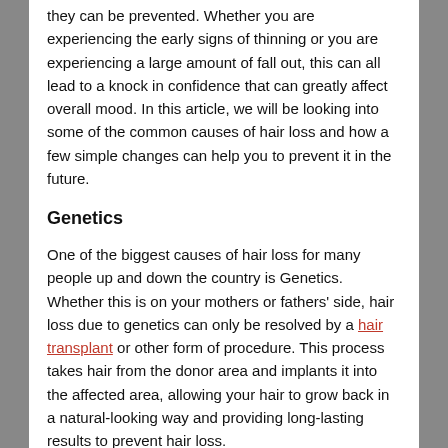they can be prevented. Whether you are experiencing the early signs of thinning or you are experiencing a large amount of fall out, this can all lead to a knock in confidence that can greatly affect overall mood. In this article, we will be looking into some of the common causes of hair loss and how a few simple changes can help you to prevent it in the future.
Genetics
One of the biggest causes of hair loss for many people up and down the country is Genetics. Whether this is on your mothers or fathers' side, hair loss due to genetics can only be resolved by a hair transplant or other form of procedure. This process takes hair from the donor area and implants it into the affected area, allowing your hair to grow back in a natural-looking way and providing long-lasting results to prevent hair loss.